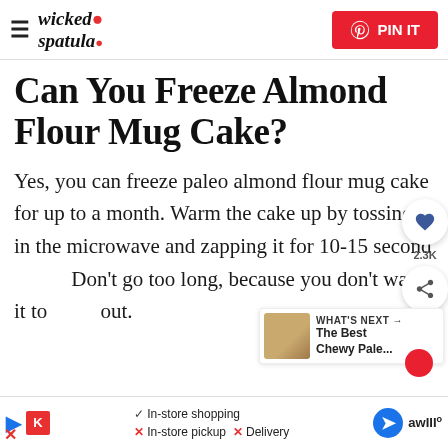wicked spatula — PIN IT
Can You Freeze Almond Flour Mug Cake?
Yes, you can freeze paleo almond flour mug cake for up to a month. Warm the cake up by tossing it in the microwave and zapping it for 10-15 seconds. Don't go too long, because you don't want it to dry out.
One important thing to note is that to have a flavorful and moist experience with this paleo cake reci...